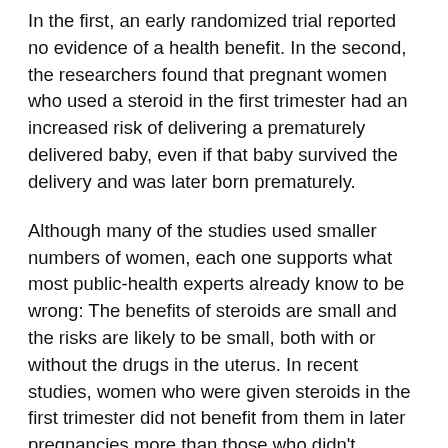In the first, an early randomized trial reported no evidence of a health benefit. In the second, the researchers found that pregnant women who used a steroid in the first trimester had an increased risk of delivering a prematurely delivered baby, even if that baby survived the delivery and was later born prematurely.
Although many of the studies used smaller numbers of women, each one supports what most public-health experts already know to be wrong: The benefits of steroids are small and the risks are likely to be small, both with or without the drugs in the uterus. In recent studies, women who were given steroids in the first trimester did not benefit from them in later pregnancies more than those who didn't receive steroids in the first trimester; they also suffered higher rates of serious birth defects if they gave birth prematurely.